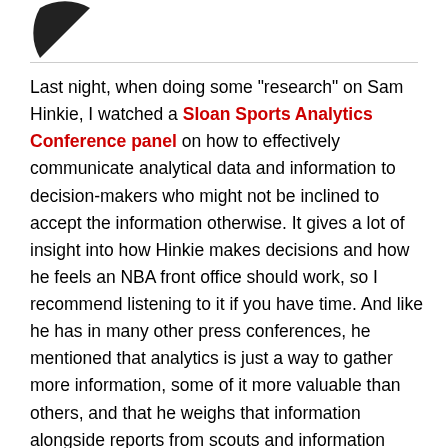[Figure (logo): Partial circular logo/icon, black, top-left corner]
Last night, when doing some "research" on Sam Hinkie, I watched a Sloan Sports Analytics Conference panel on how to effectively communicate analytical data and information to decision-makers who might not be inclined to accept the information otherwise. It gives a lot of insight into how Hinkie makes decisions and how he feels an NBA front office should work, so I recommend listening to it if you have time. And like he has in many other press conferences, he mentioned that analytics is just a way to gather more information, some of it more valuable than others, and that he weighs that information alongside reports from scouts and information gathered from teammates and coaches and family members and other so-called traditional methods. He prides himself